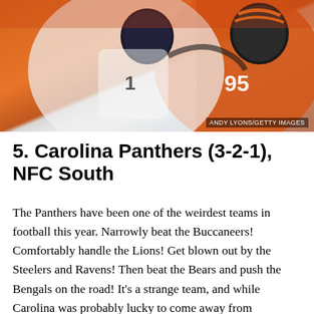[Figure (photo): Football players in action — a Carolina Panthers player in white uniform and a Cincinnati Bengals player in orange uniform (#95) during a game. Photo credit: ANDY LYONS/GETTY IMAGES]
5. Carolina Panthers (3-2-1), NFC South
The Panthers have been one of the weirdest teams in football this year. Narrowly beat the Buccaneers! Comfortably handle the Lions! Get blown out by the Steelers and Ravens! Then beat the Bears and push the Bengals on the road! It's a strange team, and while Carolina was probably lucky to come away from Cincinnati with that tie, given that it needed to fade a 36-yard field goal kickers hit about 86 percent of the time, it was impressive that it